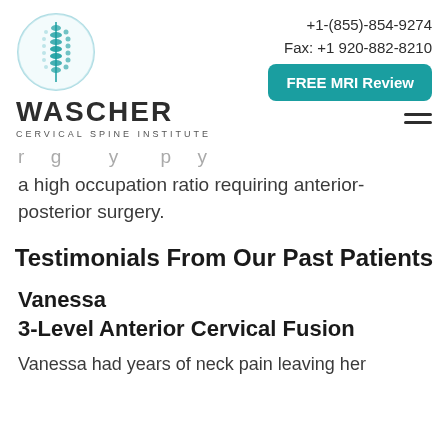[Figure (logo): Wascher Cervical Spine Institute logo with circular spine graphic]
+1-(855)-854-9274
Fax: +1 920-882-8210
FREE MRI Review
a high occupation ratio requiring anterior-posterior surgery.
Testimonials From Our Past Patients
Vanessa
3-Level Anterior Cervical Fusion
Vanessa had years of neck pain leaving her